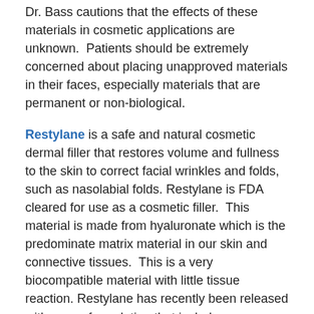Dr. Bass cautions that the effects of these materials in cosmetic applications are unknown. Patients should be extremely concerned about placing unapproved materials in their faces, especially materials that are permanent or non-biological.
Restylane is a safe and natural cosmetic dermal filler that restores volume and fullness to the skin to correct facial wrinkles and folds, such as nasolabial folds. Restylane is FDA cleared for use as a cosmetic filler. This material is made from hyaluronate which is the predominate matrix material in our skin and connective tissues. This is a very biocompatible material with little tissue reaction. Restylane has recently been released with a new formulation that includes anesthesia medicine mixed directly in the injectable material (Restylane L). This material is commonly used for lipstick bleed lines, crow's feet, lip augmentation and fill of nasolabial folds and marionette lines.